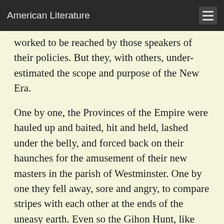American Literature
worked to be reached by those speakers of their policies. But they, with others, under-estimated the scope and purpose of the New Era.
One by one, the Provinces of the Empire were hauled up and baited, hit and held, lashed under the belly, and forced back on their haunches for the amusement of their new masters in the parish of Westminster. One by one they fell away, sore and angry, to compare stripes with each other at the ends of the uneasy earth. Even so the Gihon Hunt, like Abu Hussein in the old days, did not understand. Then it reached them through the Press that they habitually flogged to death good revenue-